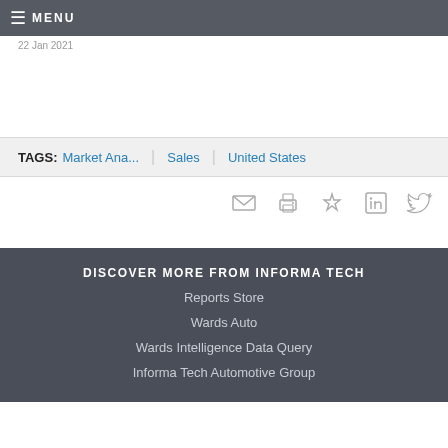MENU
22 Jan 2021
TAGS: Market Ana... | Sales | United States
DISCOVER MORE FROM INFORMA TECH
Reports Store
Wards Auto
Wards Intelligence Data Query
Informa Tech Automotive Group